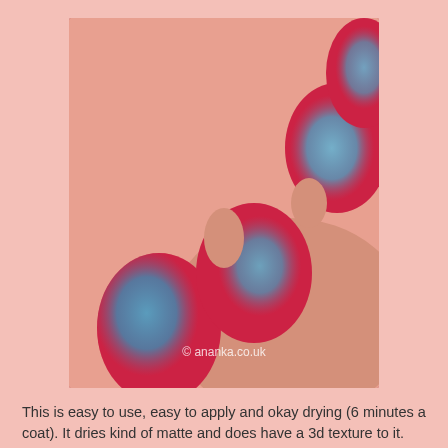[Figure (photo): Close-up photo of fingernails painted with red nail polish and blue/teal glitter overlay, showing 4 fingers. Watermark reads '© ananka.co.uk']
This is easy to use, easy to apply and okay drying (6 minutes a coat). It dries kind of matte and does have a 3d texture to it. Looks pretty on the red. Lasted well.
Rating
Easy to use = 8/10